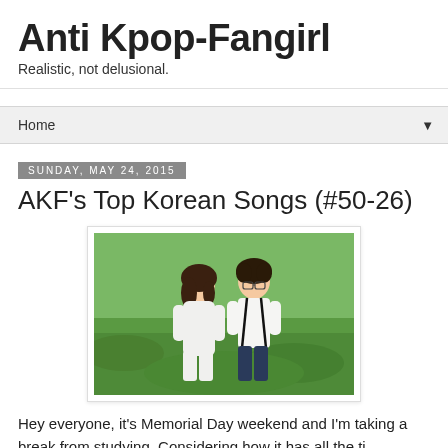Anti Kpop-Fangirl
Realistic, not delusional.
Home ▼
Sunday, May 24, 2015
AKF's Top Korean Songs (#50-26)
[Figure (photo): A young woman in a white dress and a young man in a white shirt with black suspenders and glasses, standing together outdoors on a green grassy field.]
Hey everyone, it's Memorial Day weekend and I'm taking a break from studying. Considering how it has all the time